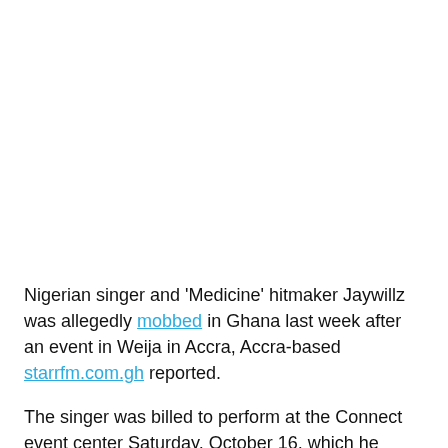Nigerian singer and 'Medicine' hitmaker Jaywillz was allegedly mobbed in Ghana last week after an event in Weija in Accra, Accra-based starrfm.com.gh reported.
The singer was billed to perform at the Connect event center Saturday, October 16, which he honored as agreed.